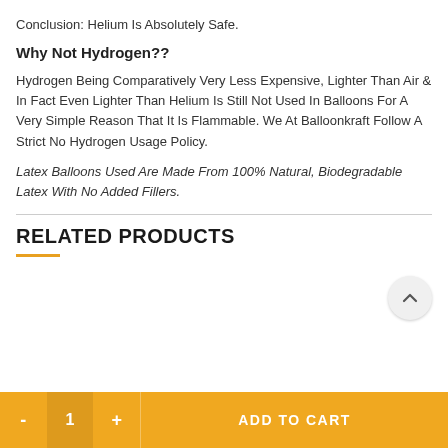Conclusion: Helium Is Absolutely Safe.
Why Not Hydrogen??
Hydrogen Being Comparatively Very Less Expensive, Lighter Than Air & In Fact Even Lighter Than Helium Is Still Not Used In Balloons For A Very Simple Reason That It Is Flammable. We At Balloonkraft Follow A Strict No Hydrogen Usage Policy.
Latex Balloons Used Are Made From 100% Natural, Biodegradable Latex With No Added Fillers.
RELATED PRODUCTS
- 1 + ADD TO CART